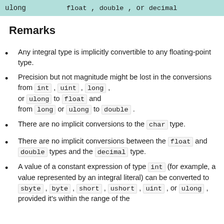|  |  |
| --- | --- |
| ulong | float , double , or decimal |
Remarks
Any integral type is implicitly convertible to any floating-point type.
Precision but not magnitude might be lost in the conversions from int , uint , long , or ulong to float and from long or ulong to double .
There are no implicit conversions to the char type.
There are no implicit conversions between the float and double types and the decimal type.
A value of a constant expression of type int (for example, a value represented by an integral literal) can be converted to sbyte , byte , short , ushort , uint , or ulong , provided it's within the range of the